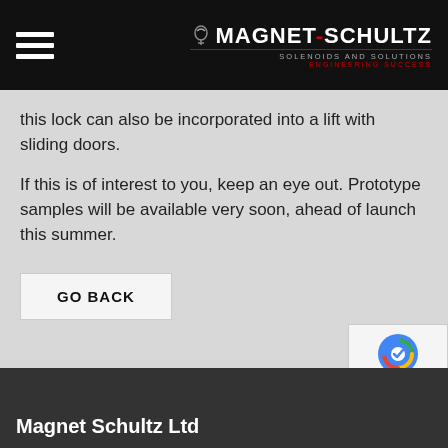MAGNET-SCHULTZ SOLENOIDS AND SOLUTIONS ENGINEERING SUCCESS
this lock can also be incorporated into a lift with sliding doors.
If this is of interest to you, keep an eye out. Prototype samples will be available very soon, ahead of launch this summer.
GO BACK
[Figure (logo): reCAPTCHA logo with Privacy and Terms links]
Magnet Schultz Ltd